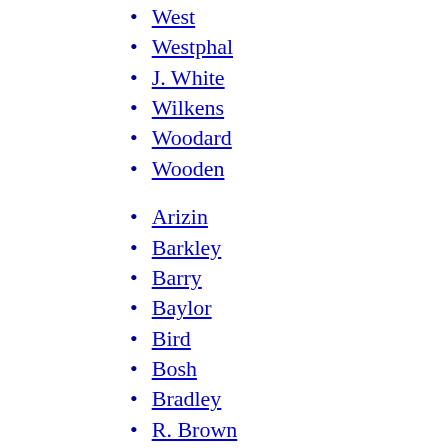West
Westphal
J. White
Wilkens
Woodard
Wooden
Arizin
Barkley
Barry
Baylor
Bird
Bosh
Bradley
R. Brown
Catchings
C. Cooper
Cunningham
Curry
Dalipagić
Dandridge
Dantley
DeBusschere
Dehnert
Duncan
Erler (partial)